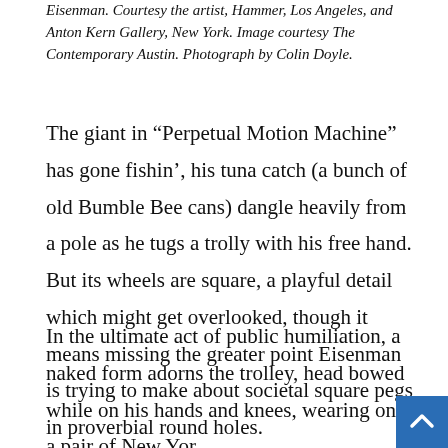Eisenman. Courtesy the artist, Hammer, Los Angeles, and Anton Kern Gallery, New York. Image courtesy The Contemporary Austin. Photograph by Colin Doyle.
The giant in “Perpetual Motion Machine” has gone fishin’, his tuna catch (a bunch of old Bumble Bee cans) dangle heavily from a pole as he tugs a trolly with his free hand. But its wheels are square, a playful detail which might get overlooked, though it means missing the greater point Eisenman is trying to make about societal square pegs in proverbial round holes.
In the ultimate act of public humiliation, a naked form adorns the trolley, head bowed while on his hands and knees, wearing only a pair of New York Giants... Brightly, it with only white and bl...